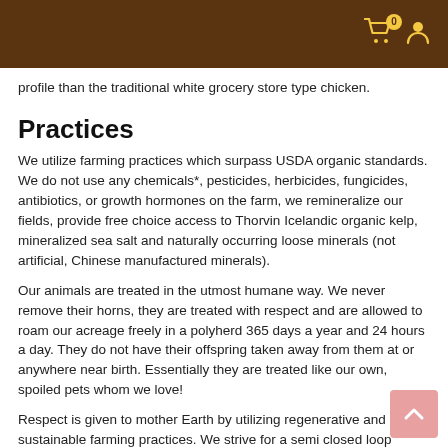profile than the traditional white grocery store type chicken.
Practices
We utilize farming practices which surpass USDA organic standards. We do not use any chemicals*, pesticides, herbicides, fungicides, antibiotics, or growth hormones on the farm, we remineralize our fields, provide free choice access to Thorvin Icelandic organic kelp, mineralized sea salt and naturally occurring loose minerals (not artificial, Chinese manufactured minerals).
Our animals are treated in the utmost humane way. We never remove their horns, they are treated with respect and are allowed to roam our acreage freely in a polyherd 365 days a year and 24 hours a day. They do not have their offspring taken away from them at or anywhere near birth. Essentially they are treated like our own, spoiled pets whom we love!
Respect is given to mother Earth by utilizing regenerative and sustainable farming practices. We strive for a semi closed loop system whereby our ruminant animals provide food for our non-